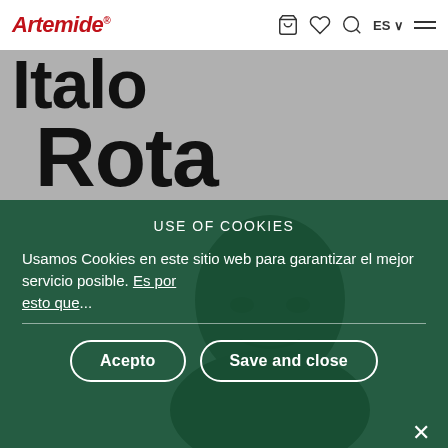Artemide® — navigation bar with cart, wishlist, search, ES language selector, and menu icons
Italo Rota
[Figure (photo): Partially visible face of a man (Italo Rota) in the lower half of the page behind a cookie consent overlay]
USE OF COOKIES
Usamos Cookies en este sitio web para garantizar el mejor servicio posible. Es por esto que
Acepto
Save and close